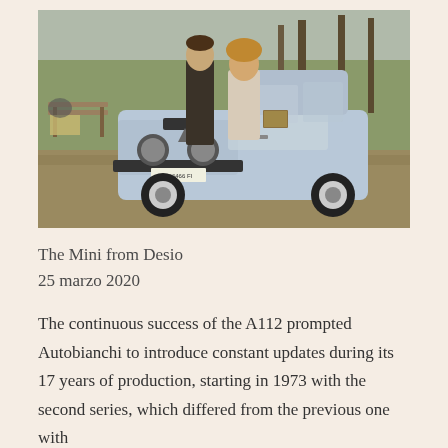[Figure (photo): Vintage photograph showing a young man and woman leaning against the hood of a light blue Autobianchi A112 small car parked outdoors in a park-like setting with trees and a bench in the background. The scene has a 1970s-80s aesthetic.]
The Mini from Desio
25 marzo 2020
The continuous success of the A112 prompted Autobianchi to introduce constant updates during its 17 years of production, starting in 1973 with the second series, which differed from the previous one with